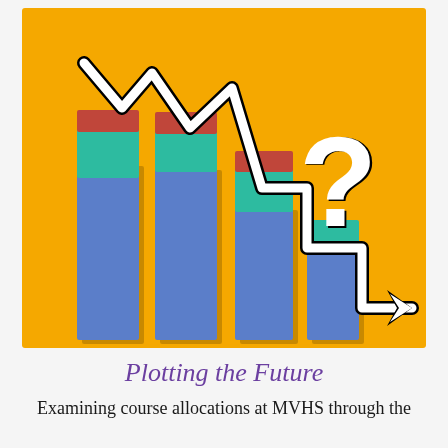[Figure (illustration): Illustration on yellow/golden background showing a declining stacked bar chart with three bars decreasing in height from left to right, overlaid with a zigzag declining line chart with an arrow pointing down-right, and a question mark in the upper right. The bars are segmented in blue (bottom), teal/green (middle), and red (top).]
Plotting the Future
Examining course allocations at MVHS through the